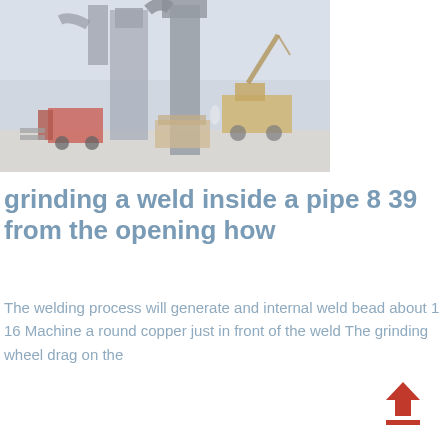[Figure (photo): Industrial construction site with large machinery, silos or dust collectors, a red forklift, a yellow crane truck, and construction equipment on a paved area under a hazy sky.]
grinding a weld inside a pipe 8 39 from the opening how
The welding process will generate and internal weld bead about 1 16 Machine a round copper just in front of the weld The grinding wheel drag on the